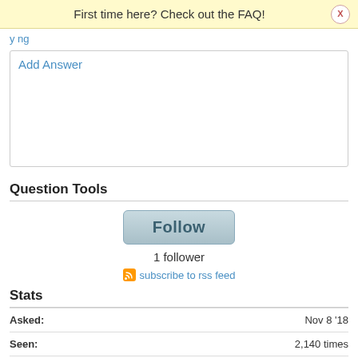First time here? Check out the FAQ!
Add Answer
Question Tools
Follow
1 follower
subscribe to rss feed
Stats
|  |  |
| --- | --- |
| Asked: | Nov 8 '18 |
| Seen: | 2,140 times |
| Last updated: | Nov 08 '18 |
Related questions